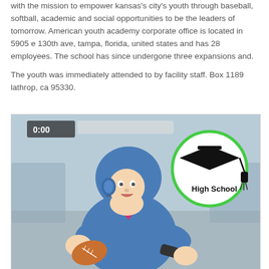with the mission to empower kansas's city's youth through baseball, softball, academic and social opportunities to be the leaders of tomorrow. American youth academy corporate office is located in 5905 e 130th ave, tampa, florida, united states and has 28 employees. The school has since undergone three expansions and.
The youth was immediately attended to by facility staff. Box 1189 lathrop, ca 95330.
[Figure (illustration): Illustration of a football player in blue and pink uniform wearing a helmet, holding a football in a throwing stance. In the upper right corner is a circular logo with a graduation cap and the text 'High School'. Background shows a stadium.]